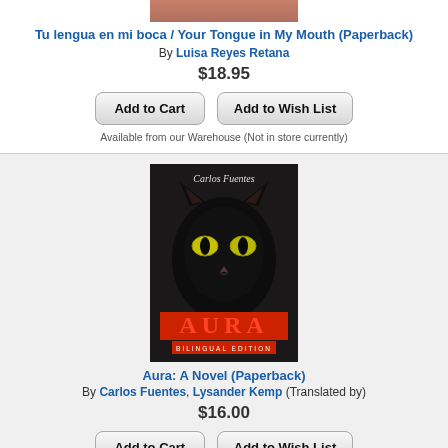[Figure (photo): Partial book cover image at top, cropped — shows a pinkish/reddish image fragment]
Tu lengua en mi boca / Your Tongue in My Mouth (Paperback)
By Luisa Reyes Retana
$18.95
Add to Cart   Add to Wish List
Available from our Warehouse (Not in store currently)
[Figure (photo): Book cover of 'Aura' by Carlos Fuentes — shows a black cat with glowing yellow-green eyes, title 'AURA' in red letters at bottom, 'Bilingual Edition' subtitle, author name 'Carlos Fuentes' at top in italic]
Aura: A Novel (Paperback)
By Carlos Fuentes, Lysander Kemp (Translated by)
$16.00
Add to Cart   Add to Wish List